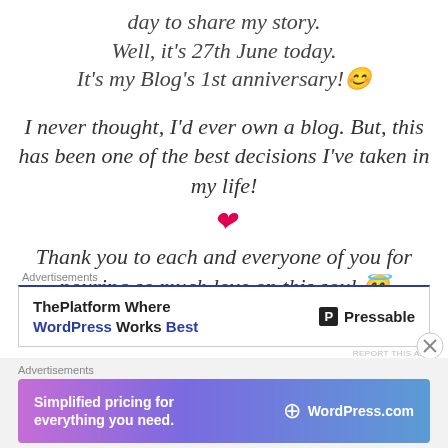day to share my story.
Well, it's 27th June today.
It's my Blog's 1st anniversary! 😊
I never thought, I'd ever own a blog. But, this has been one of the best decisions I've taken in my life! ❤️
Thank you to each and everyone of you for pouring so much love on this soul. 😇
[Figure (other): Advertisement banner: ThePlatform Where WordPress Works Best - Pressable]
[Figure (other): Advertisement banner: Simplified pricing for everything you need - WordPress.com]